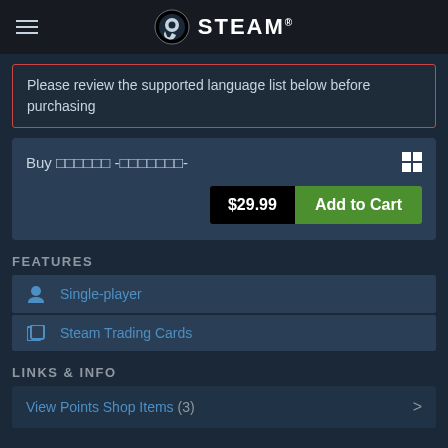STEAM
Please review the supported language list below before purchasing
Buy □□□□□□ -□□□□□□□- $29.99 Add to Cart
FEATURES
Single-player
Steam Trading Cards
LINKS & INFO
View Points Shop Items (3)